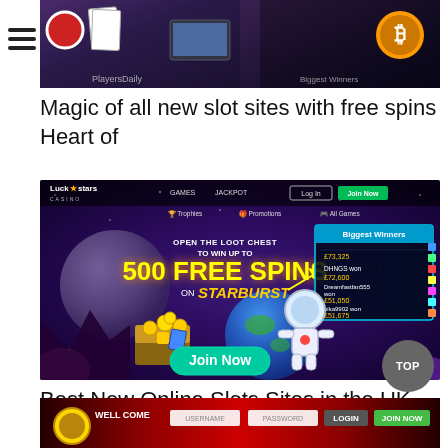[Figure (screenshot): Top banner with casino imagery showing playing cards, chips, and bitcoin logo with hamburger menu icon]
Magic of all new slot sites with free spins Heart of
[Figure (screenshot): Luck Stars Casino website screenshot showing '500 Free Spins on Starburst' promotion with astronaut, loot chest, Biggest Winners panel, and Join Now button on purple space-themed background]
Best New Online Slots Sites in the UK Luck Stars Casino
[Figure (screenshot): Bottom strip of another casino website with red background, gold coin logo, LOGIN and JOIN NOW buttons]